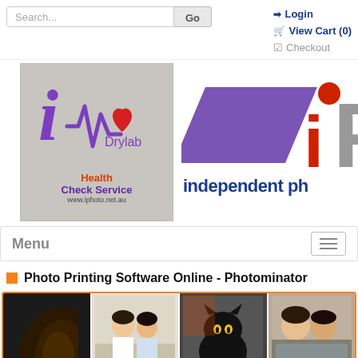[Figure (screenshot): Website screenshot showing iPhoto Drylab / independent photo service. Top bar has search field, Go button, Login, View Cart (0), and Checkout links. Below is the iPhoto Drylab logo on the left and the 'iP' independent photo logo on the right. A menu bar with 'Menu' text and hamburger icon follows. Then a page title 'Photo Printing Software Online - Photominator' with an orange square icon. At the bottom is an orange-bordered photo strip with four thumbnail images.]